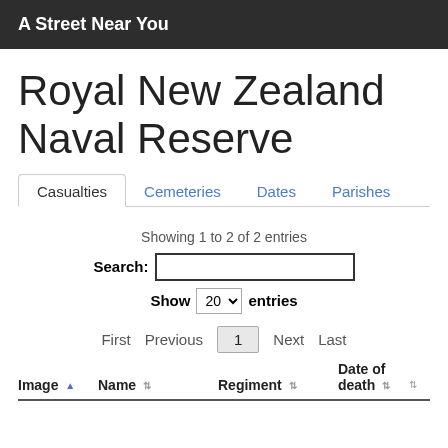A Street Near You
Royal New Zealand Naval Reserve
Casualties  Cemeteries  Dates  Parishes
Showing 1 to 2 of 2 entries
Search:
Show 20 entries
First  Previous  1  Next  Last
| Image | Name | Regiment | Date of death |
| --- | --- | --- | --- |